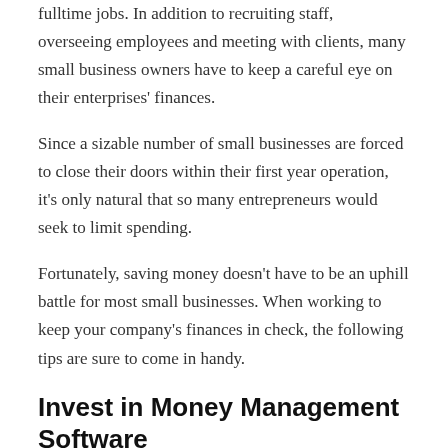fulltime jobs. In addition to recruiting staff, overseeing employees and meeting with clients, many small business owners have to keep a careful eye on their enterprises' finances.
Since a sizable number of small businesses are forced to close their doors within their first year operation, it's only natural that so many entrepreneurs would seek to limit spending.
Fortunately, saving money doesn't have to be an uphill battle for most small businesses. When working to keep your company's finances in check, the following tips are sure to come in handy.
Invest in Money Management Software
...